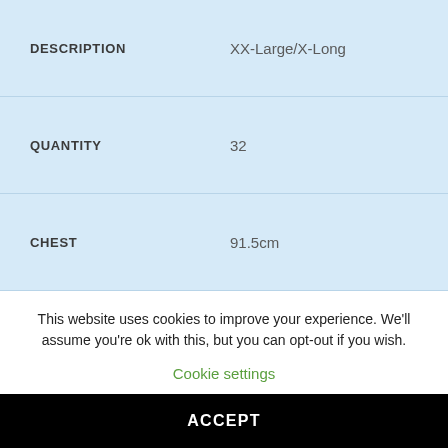| DESCRIPTION | XX-Large/X-Long |
| --- | --- |
| QUANTITY | 32 |
| CHEST | 91.5cm |
| LENGTH | 150cm |
This website uses cookies to improve your experience. We'll assume you're ok with this, but you can opt-out if you wish.
Cookie settings
ACCEPT